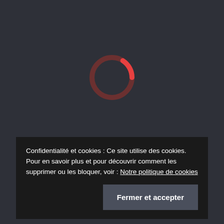[Figure (other): A circular loading spinner on a dark background. The ring is mostly dark brown/maroon with a bright red-orange arc on the left side, indicating loading in progress.]
Confidentialité et cookies : Ce site utilise des cookies.
Pour en savoir plus et pour découvrir comment les supprimer ou les bloquer, voir : Notre politique de cookies
Fermer et accepter